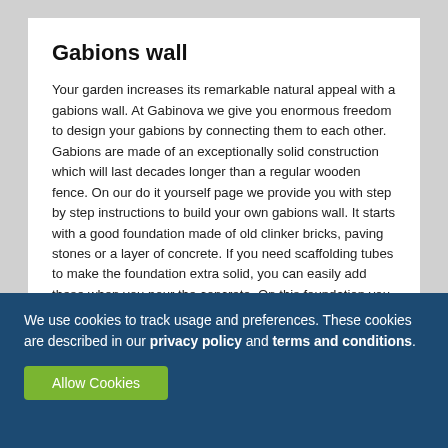Gabions wall
Your garden increases its remarkable natural appeal with a gabions wall. At Gabinova we give you enormous freedom to design your gabions by connecting them to each other. Gabions are made of an exceptionally solid construction which will last decades longer than a regular wooden fence. On our do it yourself page we provide you with step by step instructions to build your own gabions wall. It starts with a good foundation made of old clinker bricks, paving stones or a layer of concrete. If you need scaffolding tubes to make the foundation extra solid, you can easily add these when you pour the concrete. On this foundation you place the loose gabions and connect them with the enclosed C-rings to create one big gabions wall. Apply spacers in the gabions
We use cookies to track usage and preferences. These cookies are described in our privacy policy and terms and conditions.
Allow Cookies